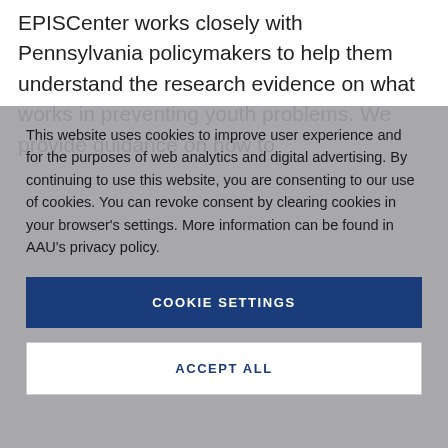EPISCenter works closely with Pennsylvania policymakers to help them understand the research evidence on what works in preventing youth problems. We provide guidance on how to
This website uses cookies to improve user experience and for the purposes of web analytics and digital advertising. By continuing to use this website, you are consenting to our use of cookies. You can revoke consent by clearing cookies in your browser's settings. More information can be found in AAU's privacy policy.
COOKIE SETTINGS
ACCEPT ALL